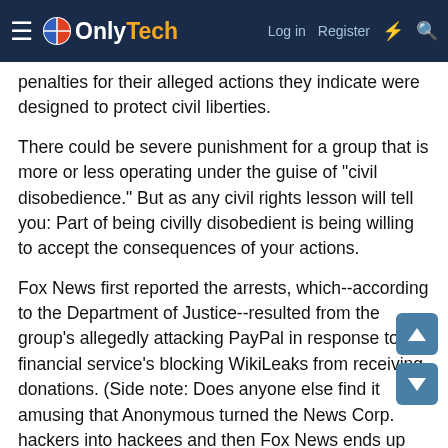OnlyTech — Log in  Register
penalties for their alleged actions they indicate were designed to protect civil liberties.
There could be severe punishment for a group that is more or less operating under the guise of "civil disobedience." But as any civil rights lesson will tell you: Part of being civilly disobedient is being willing to accept the consequences of your actions.
Fox News first reported the arrests, which--according to the Department of Justice--resulted from the group's allegedly attacking PayPal in response to the financial service's blocking WikiLeaks from receiving donations. (Side note: Does anyone else find it amusing that Anonymous turned the News Corp. hackers into hackees and then Fox News ends up being the first news outlet to report the Anonymous arrests?)
The suspects are charged with "various counts of conspiracy and intentional damage to a protected computer," according to a